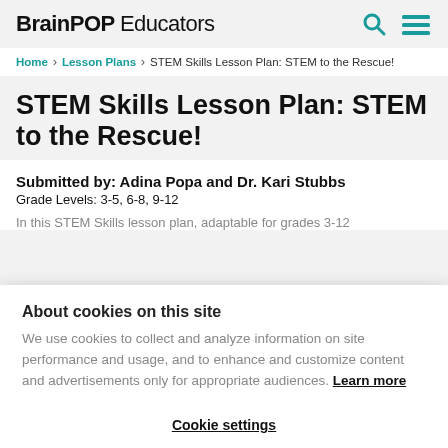BrainPOP Educators
Home > Lesson Plans > STEM Skills Lesson Plan: STEM to the Rescue!
STEM Skills Lesson Plan: STEM to the Rescue!
Submitted by: Adina Popa and Dr. Kari Stubbs
Grade Levels: 3-5, 6-8, 9-12
In this STEM Skills lesson plan, adaptable for grades 3-12
About cookies on this site
We use cookies to collect and analyze information on site performance and usage, and to enhance and customize content and advertisements only for appropriate audiences. Learn more
Cookie settings